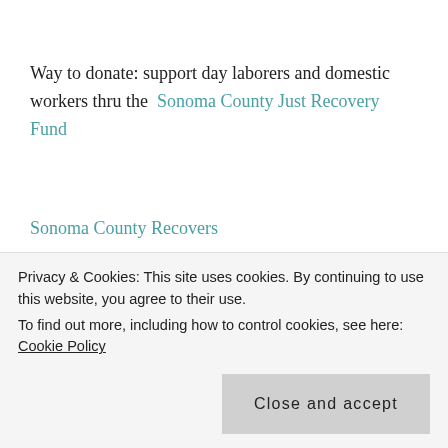Way to donate: support day laborers and domestic workers thru the Sonoma County Just Recovery Fund
Sonoma County Recovers
and the county's Debris Removal Info
The CDC on Air Pollution and Respiratory Health
Some data from studying Ash and Burned Soil from a
Privacy & Cookies: This site uses cookies. By continuing to use this website, you agree to their use.
To find out more, including how to control cookies, see here: Cookie Policy
Close and accept